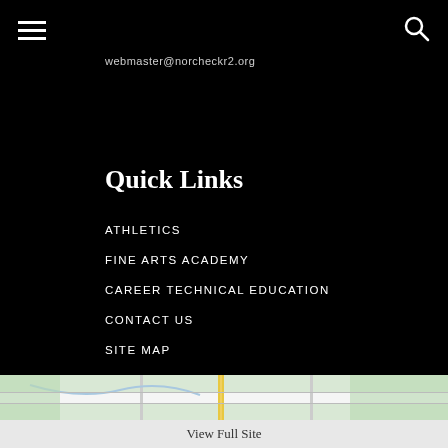webmaster@norcheckr2.org
Quick Links
ATHLETICS
FINE ARTS ACADEMY
CAREER TECHNICAL EDUCATION
CONTACT US
SITE MAP
[Figure (map): Street map snippet showing roads and green areas]
View Full Site